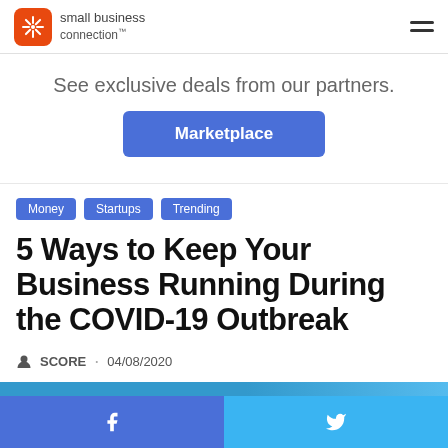small business connection
See exclusive deals from our partners.
Marketplace
Money
Startups
Trending
5 Ways to Keep Your Business Running During the COVID-19 Outbreak
SCORE · 04/08/2020